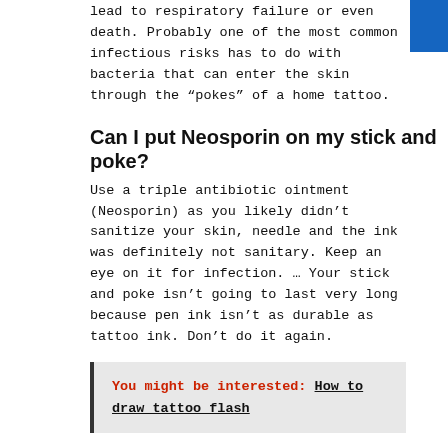lead to respiratory failure or even death. Probably one of the most common infectious risks has to do with bacteria that can enter the skin through the “pokes” of a home tattoo.
Can I put Neosporin on my stick and poke?
Use a triple antibiotic ointment (Neosporin) as you likely didn’t sanitize your skin, needle and the ink was definitely not sanitary. Keep an eye on it for infection. … Your stick and poke isn’t going to last very long because pen ink isn’t as durable as tattoo ink. Don’t do it again.
You might be interested: How to draw tattoo flash
Are stick and pokes illegal?
A stick and poke tattoo is created by using a